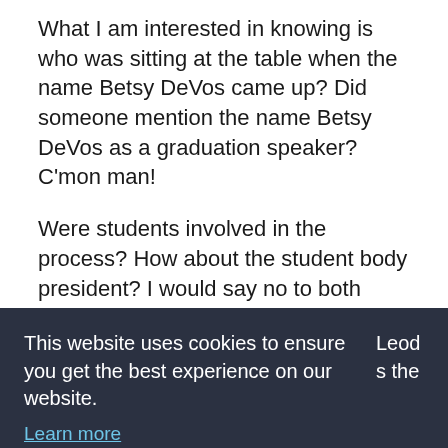What I am interested in knowing is who was sitting at the table when the name Betsy DeVos came up? Did someone mention the name Betsy DeVos as a graduation speaker? C'mon man!
Were students involved in the process? How about the student body president? I would say no to both questions.
This website uses cookies to ensure you get the best experience on our website. Learn more
Got it!
Leod s the
and clandestine. Were financial promises made?